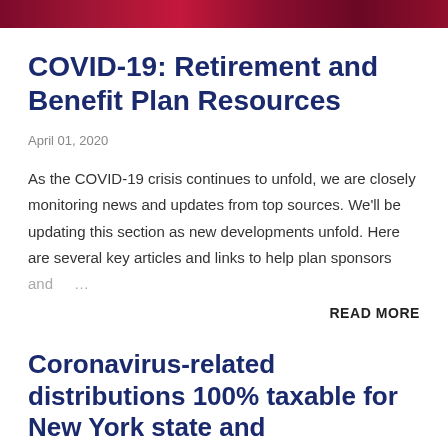[Figure (photo): Dark red/crimson header banner image at the top of the page]
COVID-19: Retirement and Benefit Plan Resources
April 01, 2020
As the COVID-19 crisis continues to unfold, we are closely monitoring news and updates from top sources. We'll be updating this section as new developments unfold. Here are several key articles and links to help plan sponsors and …
READ MORE
Coronavirus-related distributions 100% taxable for New York state and